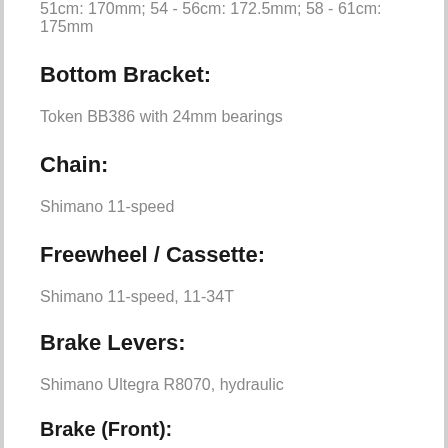51cm: 170mm; 54 - 56cm: 172.5mm; 58 - 61cm: 175mm
Bottom Bracket:
Token BB386 with 24mm bearings
Chain:
Shimano 11-speed
Freewheel / Cassette:
Shimano 11-speed, 11-34T
Brake Levers:
Shimano Ultegra R8070, hydraulic
Brake (Front):
Shimano R8070 hydraulic disc, 160mm rotor
Brake (Rear):